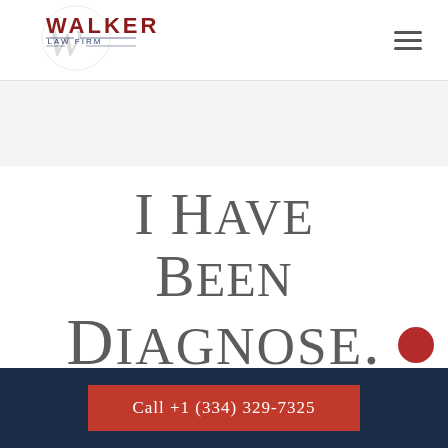[Figure (logo): Walker Law Firm logo with stylized 'w' watermark and firm name in dark red and navy blue]
I Have Been Diagnose...
Call +1 (334) 329-7325